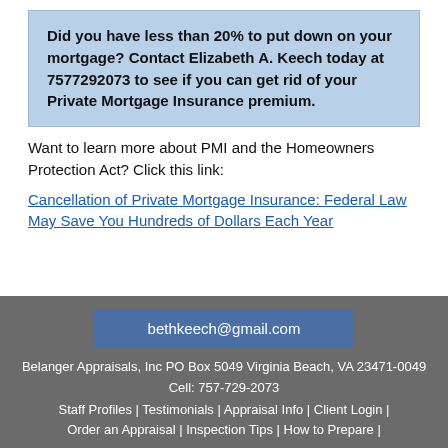Did you have less than 20% to put down on your mortgage? Contact Elizabeth A. Keech today at 7577292073 to see if you can get rid of your Private Mortgage Insurance premium.
Want to learn more about PMI and the Homeowners Protection Act? Click this link:
Cancellation of Private Mortgage Insurance: Federal Law May Save You Hundreds of Dollars Each Year
bethkeech@gmail.com
Belanger Appraisals, Inc PO Box 5049 Virginia Beach, VA 23471-0049
Cell: 757-729-2073
Staff Profiles | Testimonials | Appraisal Info | Client Login | Order an Appraisal | Inspection Tips | How to Prepare |